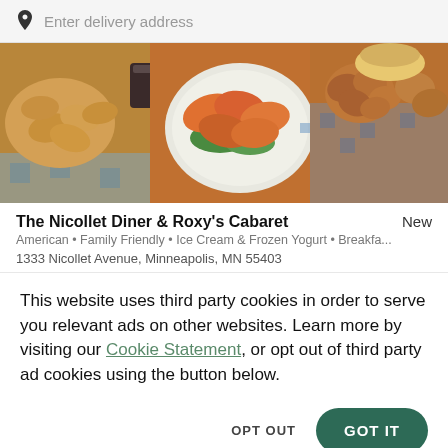Enter delivery address
[Figure (photo): Food photo showing fried chicken, wings on a plate with greens, crackers/chips, and other fried foods on blue checkered paper/tablecloth]
The Nicollet Diner & Roxy's Cabaret
American • Family Friendly • Ice Cream & Frozen Yogurt • Breakfa...
1333 Nicollet Avenue, Minneapolis, MN 55403
This website uses third party cookies in order to serve you relevant ads on other websites. Learn more by visiting our Cookie Statement, or opt out of third party ad cookies using the button below.
OPT OUT
GOT IT